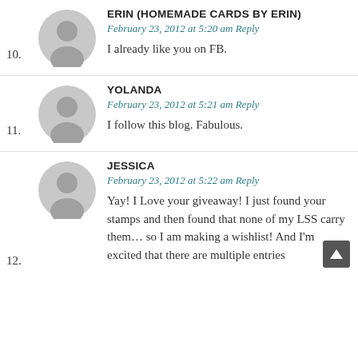10. ERIN (HOMEMADE CARDS BY ERIN)
February 23, 2012 at 5:20 am Reply
I already like you on FB.
11. YOLANDA
February 23, 2012 at 5:21 am Reply
I follow this blog. Fabulous.
12. JESSICA
February 23, 2012 at 5:22 am Reply
Yay! I Love your giveaway! I just found your stamps and then found that none of my LSS carry them… so I am making a wishlist! And I'm excited that there are multiple entries